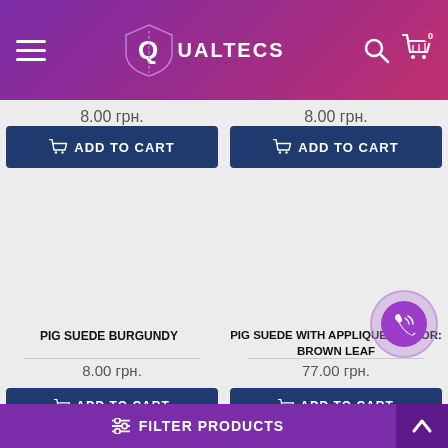[Figure (screenshot): Qualtecs e-commerce website header with logo, hamburger menu, search, and cart icon showing 0 items]
8.00 грн.
8.00 грн.
ADD TO CART
ADD TO CART
PIG SUEDE BURGUNDY
PIG SUEDE WITH APPLIQUE | COLOR: BROWN LEAF
8.00 грн.
77.00 грн.
ADD TO CART
ADD TO CART
FILTER PRODUCTS